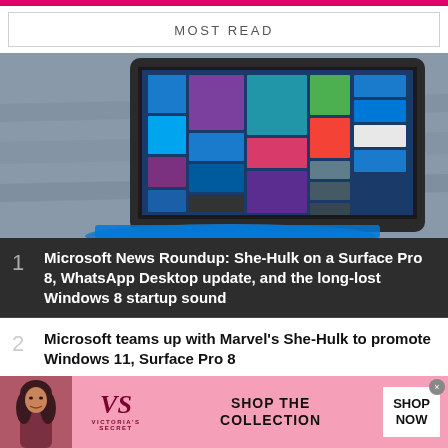MOST READ
[Figure (photo): Microsoft Surface Pro tablet with Windows 8 start screen tiles, sitting on a grey couch with a blue keyboard cover]
1 Microsoft News Roundup: She-Hulk on a Surface Pro 8, WhatsApp Desktop update, and the long-lost Windows 8 startup sound
2 Microsoft teams up with Marvel's She-Hulk to promote Windows 11, Surface Pro 8
[Figure (advertisement): Victoria's Secret advertisement with model photo, VS logo, 'SHOP THE COLLECTION' text, and 'SHOP NOW' button]